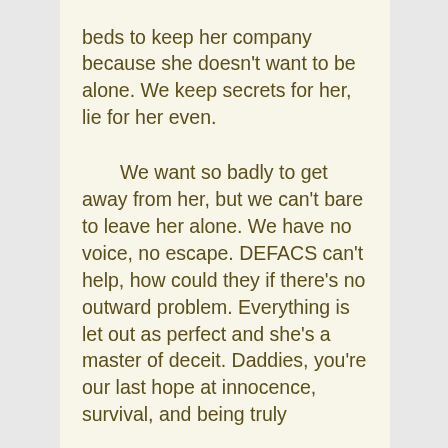beds to keep her company because she doesn't want to be alone. We keep secrets for her, lie for her even.

    We want so badly to get away from her, but we can't bare to leave her alone. We have no voice, no escape. DEFACS can't help, how could they if there's no outward problem. Everything is let out as perfect and she's a master of deceit. Daddies, you're our last hope at innocence, survival, and being truly